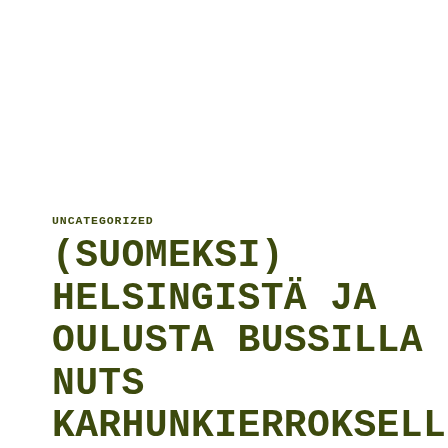UNCATEGORIZED
(SUOMEKSI) HELSINGISTÄ JA OULUSTA BUSSILLA NUTS KARHUNKIERROKSELLE